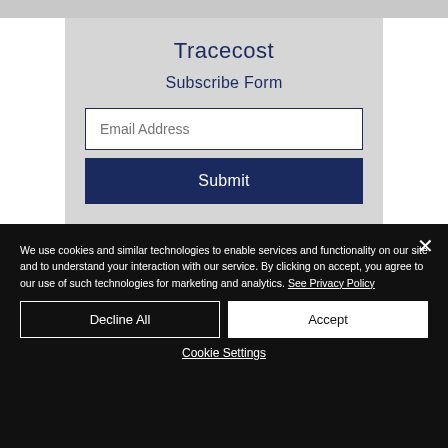Tracecost
Subscribe Form
Email Address
Submit
We use cookies and similar technologies to enable services and functionality on our site and to understand your interaction with our service. By clicking on accept, you agree to our use of such technologies for marketing and analytics. See Privacy Policy
Decline All
Accept
Cookie Settings